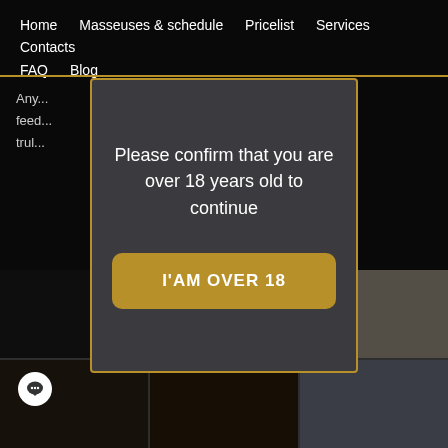Home   Masseuses & schedule   Pricelist   Services   Contacts   FAQ   Blog
Any... your feed... trul...
[Figure (screenshot): Age verification modal dialog on a massage parlor website, with dark overlay and gold border. Modal text: 'Please confirm that you are over 18 years old to continue' with a gold button labeled 'I'AM OVER 18'. Background shows navigation bar and interior photos of the establishment.]
Please confirm that you are over 18 years old to continue
I'AM OVER 18